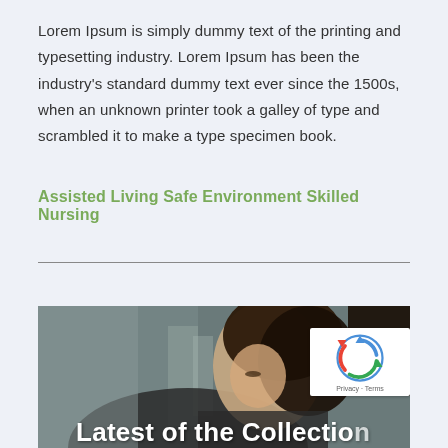Lorem Ipsum is simply dummy text of the printing and typesetting industry. Lorem Ipsum has been the industry's standard dummy text ever since the 1500s, when an unknown printer took a galley of type and scrambled it to make a type specimen book.
Assisted Living Safe Environment Skilled Nursing
[Figure (photo): A woman with dark hair looking down, photographed in a dimly lit environment. Partial view of face and shoulders. Image is partially cut off at bottom with white overlay text beginning.]
Latest of the Collection